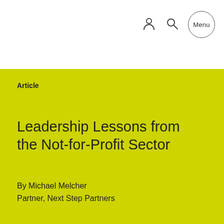Menu
Article
Leadership Lessons from the Not-for-Profit Sector
By Michael Melcher
Partner, Next Step Partners